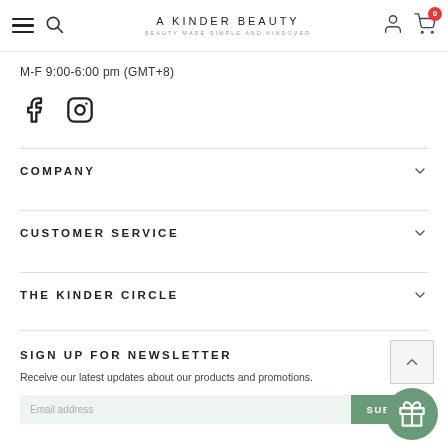A KINDER BEAUTY – BEAUTY MADE SIMPLE AND KINDOVHER
M-F 9:00-6:00 pm (GMT+8)
[Figure (illustration): Facebook and Instagram social media icons]
COMPANY
CUSTOMER SERVICE
THE KINDER CIRCLE
SIGN UP FOR NEWSLETTER
Receive our latest updates about our products and promotions.
Email address
SUBMIT